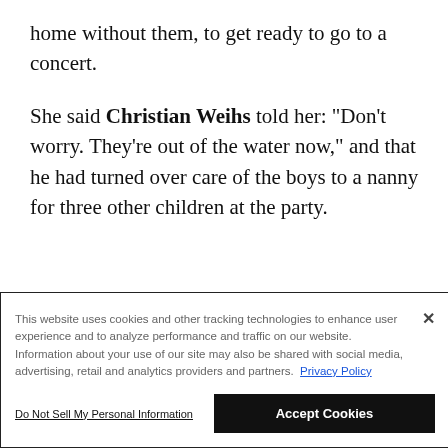home without them, to get ready to go to a concert.
She said Christian Weihs told her: "Don't worry. They're out of the water now," and that he had turned over care of the boys to a nanny for three other children at the party.
This website uses cookies and other tracking technologies to enhance user experience and to analyze performance and traffic on our website. Information about your use of our site may also be shared with social media, advertising, retail and analytics providers and partners. Privacy Policy
Do Not Sell My Personal Information
Accept Cookies